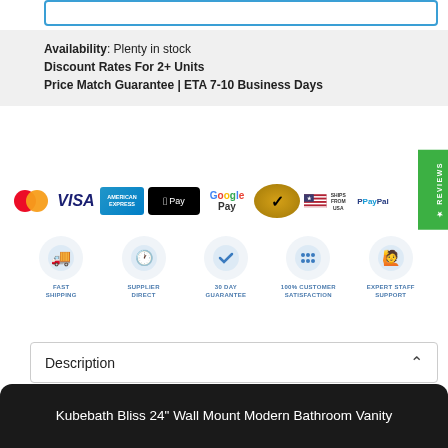Availability: Plenty in stock
Discount Rates For 2+ Units
Price Match Guarantee | ETA 7-10 Business Days
[Figure (infographic): Payment method logos: Mastercard, Visa, American Express, Apple Pay, Google Pay, gold satisfaction badge, Ships From USA, PayPal]
[Figure (infographic): Trust badges: Fast Shipping, Supplier Direct, 30 Day Guarantee, 100% Customer Satisfaction, Expert Staff Support]
Description
Kubebath Bliss 24" Wall Mount Modern Bathroom Vanity